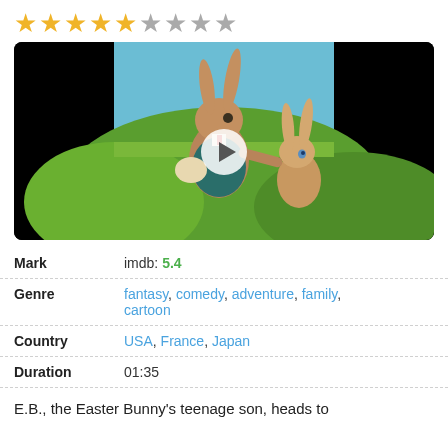[Figure (other): Star rating display showing 5 gold stars and 4 gray stars out of 9 total]
[Figure (photo): Movie still showing two animated rabbits on a grassy hill — a larger rabbit in a teal jacket touching a smaller rabbit, against a blue sky background. A play button overlay is centered on the image.]
| Label | Value |
| --- | --- |
| Mark | imdb: 5.4 |
| Genre | fantasy, comedy, adventure, family, cartoon |
| Country | USA, France, Japan |
| Duration | 01:35 |
E.B., the Easter Bunny's teenage son, heads to